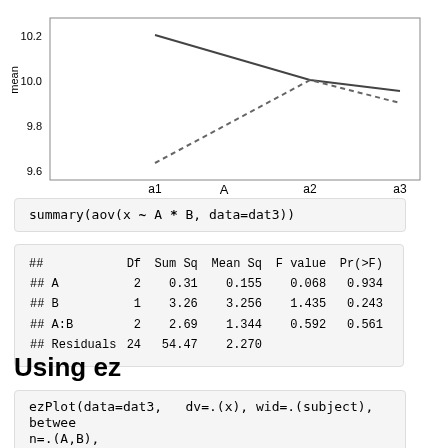[Figure (line-chart): Line chart showing two lines (one solid, one dashed) across x-axis values a1, a2, a3. Y-axis ranges from 9.6 to 10.2. Solid line goes from high (~10.2) at a1 down to ~10.0 at a2 then slightly lower. Dashed line goes from low (~9.6) at a1 up to ~10.0 at a2 then slightly lower (~9.9) at a3.]
summary(aov(x ~ A * B, data=dat3))
| ## | Df | Sum Sq | Mean Sq | F value | Pr(>F) |
| --- | --- | --- | --- | --- | --- |
| ## A | 2 | 0.31 | 0.155 | 0.068 | 0.934 |
| ## B | 1 | 3.26 | 3.256 | 1.435 | 0.243 |
| ## A:B | 2 | 2.69 | 1.344 | 0.592 | 0.561 |
| ## Residuals | 24 | 54.47 | 2.270 |  |  |
Using ez
ezPlot(data=dat3,  dv=.(x), wid=.(subject), between=.(A,B),
        x=.(B), split=.(A))